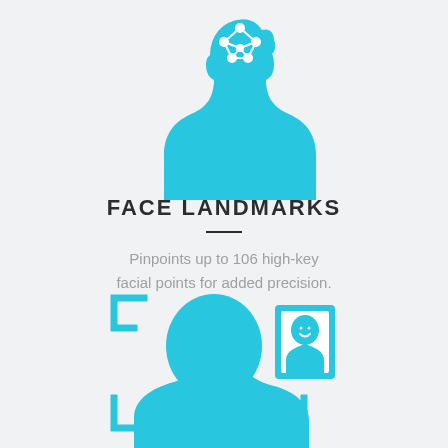[Figure (illustration): Blue silhouette of a person with a molecular/network structure overlaid on the face/head area, representing face landmark detection points]
FACE LANDMARKS
Pinpoints up to 106 high-key facial points for added precision.
[Figure (illustration): Blue silhouette of a person from behind with corner bracket frame overlay (facial recognition scan frame) and a small framed portrait icon showing a smiley face being held up]